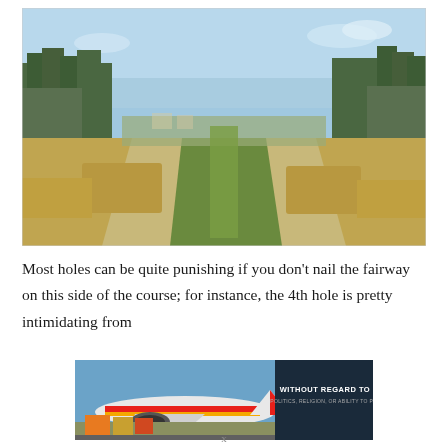[Figure (photo): Golf course fairway lined with brown ornamental grasses and pine trees on both sides, with a narrow strip of green turf running down the center, blue sky above.]
Most holes can be quite punishing if you don't nail the fairway on this side of the course; for instance, the 4th hole is pretty intimidating from
[Figure (photo): Advertisement banner showing cargo being loaded onto a Southwest Airlines airplane, with text overlay reading 'WITHOUT REGARD TO POLITICS, RELIGION, OR ABILITY TO PAY'.]